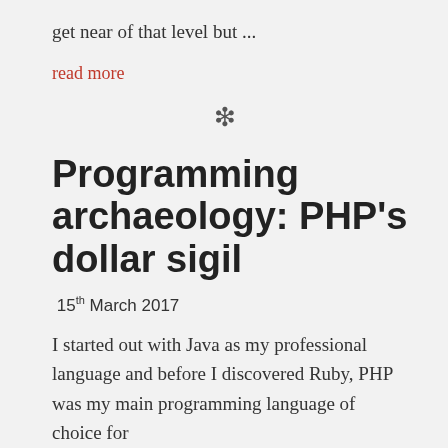get near of that level but ...
read more
❄
Programming archaeology: PHP's dollar sigil
15th March 2017
I started out with Java as my professional language and before I discovered Ruby, PHP was my main programming language of choice for